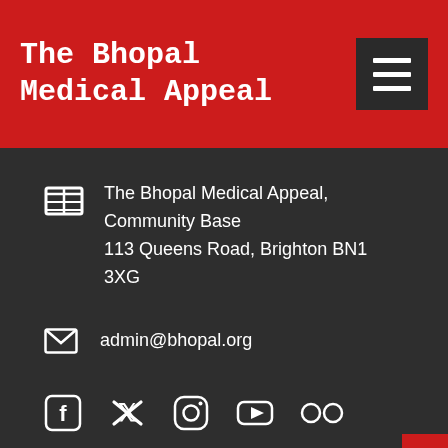The Bhopal Medical Appeal
The Bhopal Medical Appeal, Community Base
113 Queens Road, Brighton BN1 3XG
admin@bhopal.org
[Figure (infographic): Social media icons: Facebook, Twitter, Instagram, YouTube, Flickr]
Additional Resources